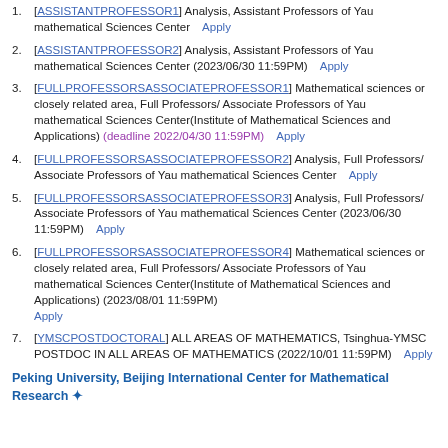1. [ASSISTANTPROFESSOR1] Analysis, Assistant Professors of Yau mathematical Sciences Center   Apply
2. [ASSISTANTPROFESSOR2] Analysis, Assistant Professors of Yau mathematical Sciences Center (2023/06/30 11:59PM)   Apply
3. [FULLPROFESSORSASSOCIATEPROFESSOR1] Mathematical sciences or closely related area, Full Professors/ Associate Professors of Yau mathematical Sciences Center(Institute of Mathematical Sciences and Applications) (deadline 2022/04/30 11:59PM)   Apply
4. [FULLPROFESSORSASSOCIATEPROFESSOR2] Analysis, Full Professors/ Associate Professors of Yau mathematical Sciences Center   Apply
5. [FULLPROFESSORSASSOCIATEPROFESSOR3] Analysis, Full Professors/ Associate Professors of Yau mathematical Sciences Center (2023/06/30 11:59PM)   Apply
6. [FULLPROFESSORSASSOCIATEPROFESSOR4] Mathematical sciences or closely related area, Full Professors/ Associate Professors of Yau mathematical Sciences Center(Institute of Mathematical Sciences and Applications) (2023/08/01 11:59PM) Apply
7. [YMSCPOSTDOCTORAL] ALL AREAS OF MATHEMATICS, Tsinghua-YMSC POSTDOC IN ALL AREAS OF MATHEMATICS (2022/10/01 11:59PM)   Apply
Peking University, Beijing International Center for Mathematical Research *